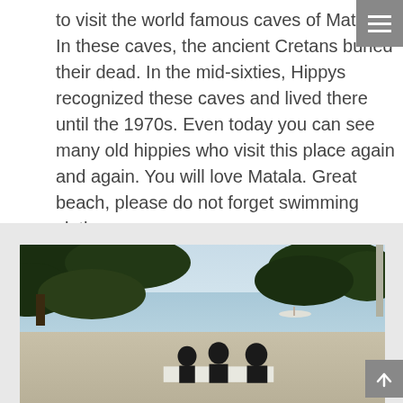to visit the world famous caves of Matala. In these caves, the ancient Cretans buried their dead. In the mid-sixties, Hippys recognized these caves and lived there until the 1970s. Even today you can see many old hippies who visit this place again and again. You will love Matala. Great beach, please do not forget swimming clothes.
[Figure (photo): Outdoor beach/waterfront scene with trees providing shade canopy at top, calm blue sea/lake in background, pebbly beach in middle ground, and silhouettes of people seated at a table in the foreground right.]